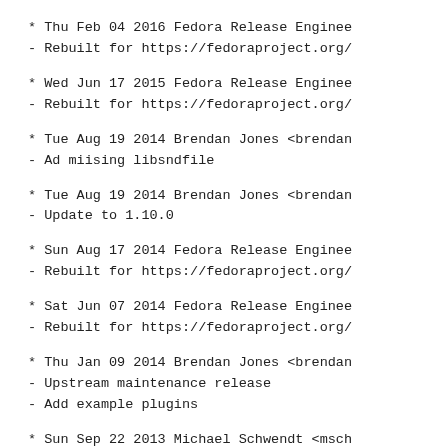* Thu Feb 04 2016 Fedora Release Enginee
- Rebuilt for https://fedoraproject.org/
* Wed Jun 17 2015 Fedora Release Enginee
- Rebuilt for https://fedoraproject.org/
* Tue Aug 19 2014 Brendan Jones <brendan
- Ad miising libsndfile
* Tue Aug 19 2014 Brendan Jones <brendan
- Update to 1.10.0
* Sun Aug 17 2014 Fedora Release Enginee
- Rebuilt for https://fedoraproject.org/
* Sat Jun 07 2014 Fedora Release Enginee
- Rebuilt for https://fedoraproject.org/
* Thu Jan 09 2014 Brendan Jones <brendan
- Upstream maintenance release
- Add example plugins
* Sun Sep 22 2013 Michael Schwendt <msch